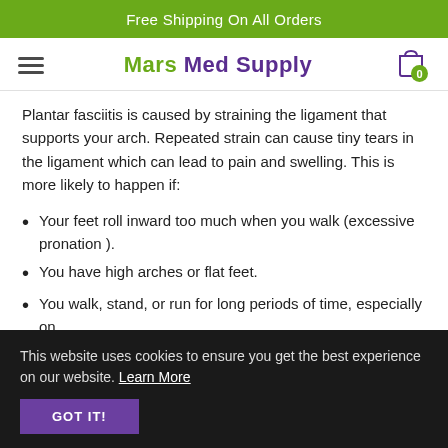Free Shipping On All Orders
Mars Med Supply
Plantar fasciitis is caused by straining the ligament that supports your arch. Repeated strain can cause tiny tears in the ligament which can lead to pain and swelling. This is more likely to happen if:
Your feet roll inward too much when you walk (excessive pronation ).
You have high arches or flat feet.
You walk, stand, or run for long periods of time, especially on
This website uses cookies to ensure you get the best experience on our website. Learn More
GOT IT!